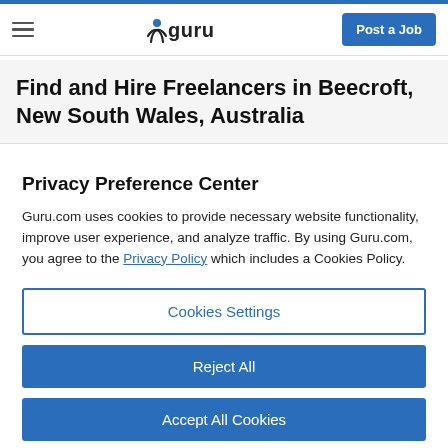guru — Post a Job
Find and Hire Freelancers in Beecroft, New South Wales, Australia
Privacy Preference Center
Guru.com uses cookies to provide necessary website functionality, improve user experience, and analyze traffic. By using Guru.com, you agree to the Privacy Policy which includes a Cookies Policy.
Cookies Settings
Reject All
Accept All Cookies